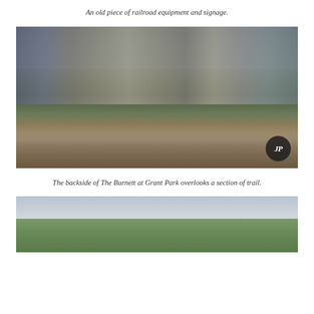An old piece of railroad equipment and signage.
[Figure (photo): View of old railroad tracks running through overgrown vegetation, with apartment buildings (The Burnett at Grant Park) visible behind a wooden fence on a hillside, under a cloudy sky. A watermark logo is visible in the bottom right corner.]
The backside of The Burnett at Grant Park overlooks a section of trail.
[Figure (photo): Partial view of a landscape with trees and overcast sky, showing a section of the trail area near Grant Park.]